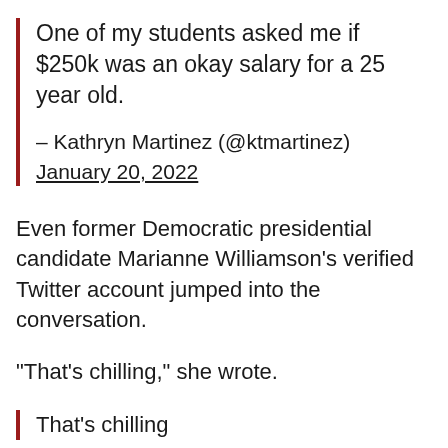One of my students asked me if $250k was an okay salary for a 25 year old.
– Kathryn Martinez (@ktmartinez) January 20, 2022
Even former Democratic presidential candidate Marianne Williamson's verified Twitter account jumped into the conversation.
“That’s chilling,” she wrote.
That’s chilling